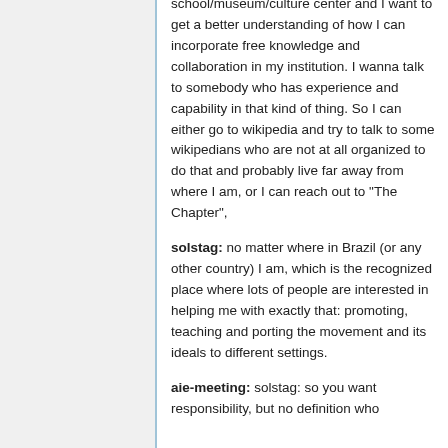school/museum/culture center and I want to get a better understanding of how I can incorporate free knowledge and collaboration in my institution. I wanna talk to somebody who has experience and capability in that kind of thing. So I can either go to wikipedia and try to talk to some wikipedians who are not at all organized to do that and probably live far away from where I am, or I can reach out to "The Chapter",
solstag: no matter where in Brazil (or any other country) I am, which is the recognized place where lots of people are interested in helping me with exactly that: promoting, teaching and porting the movement and its ideals to different settings.
aie-meeting: solstag: so you want responsibility, but no definition who